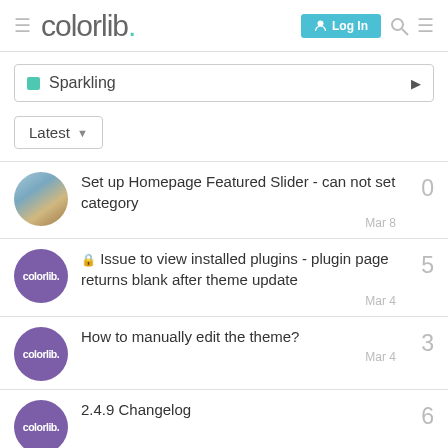colorlib. Log In
Sparkling
Latest
Set up Homepage Featured Slider - can not set category
Mar 8
0
Issue to view installed plugins - plugin page returns blank after theme update
Mar 4
5
How to manually edit the theme?
Mar 4
3
2.4.9 Changelog
6